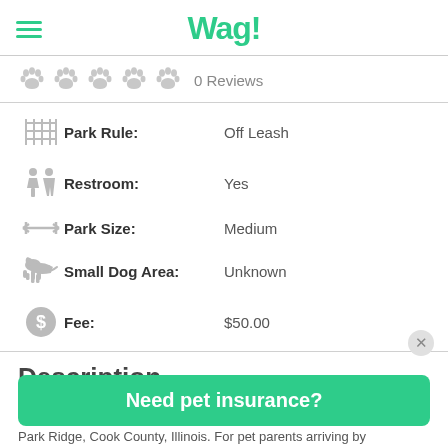Wag!
0 Reviews
Park Rule: Off Leash
Restroom: Yes
Park Size: Medium
Small Dog Area: Unknown
Fee: $50.00
Description
Park Ridge, Cook County, Illinois. For pet parents arriving by
Need pet insurance?